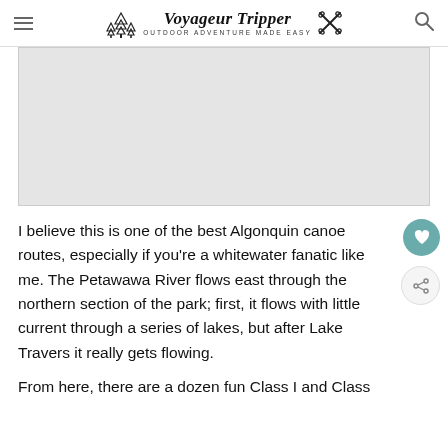Voyageur Tripper — OUTDOOR ADVENTURE MADE EASY
[Figure (photo): Light gray image placeholder area representing a photo of a canoe route]
I believe this is one of the best Algonquin canoe routes, especially if you’re a whitewater fanatic like me. The Petawawa River flows east through the northern section of the park; first, it flows with little current through a series of lakes, but after Lake Travers it really gets flowing.
From here, there are a dozen fun Class I and Class